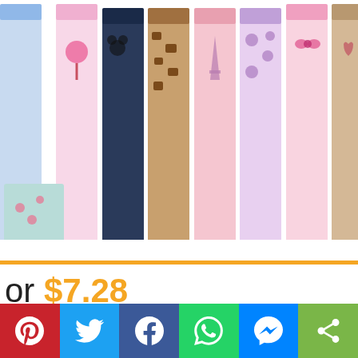[Figure (photo): Multiple colorful decorative ribbons/grosgrain rolls standing upright, showing various patterns including giraffe print, Paris Eiffel Tower, polka dots, Minnie Mouse, hearts, floral, and other designs.]
or $7.28
bon , 3/8\" X 4 Ya
[Figure (logo): Amazon Prime logo partial — showing 'prime' in blue italic text with lightning bolt styling]
[Figure (infographic): Social sharing bar with buttons: Pinterest (red), Twitter (blue), Facebook (dark blue), WhatsApp (green), Messenger (blue), Share (green)]